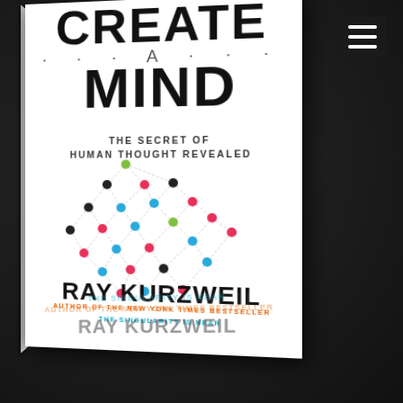[Figure (photo): Book cover of 'How to Create a Mind: The Secret of Human Thought Revealed' by Ray Kurzweil, shown as a 3D book with white cover, network diagram illustration, displayed on a dark background with a reflection below and a hamburger menu icon in the top right corner.]